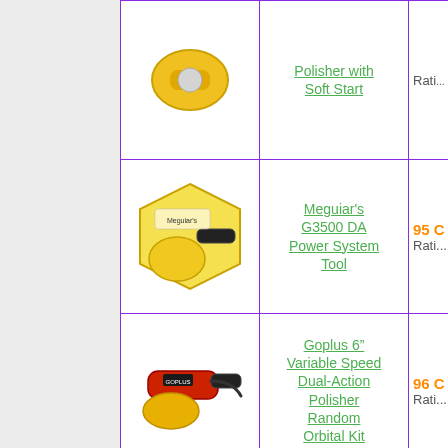| Image | Product Name | Rating |
| --- | --- | --- |
| [polisher image] | Polisher with Soft Start | Rati... |
| [meguiar image] | Meguiar's G3500 DA Power System Tool | 95 C
Rati... |
| [goplus image] | Goplus 6" Variable Speed Dual-Action Polisher Random Orbital Kit | 96 C
Rati... |
| [griot image] | Griot's Garage 10813STDCRD 6" Random Orbital Polisher | 97 C
Rati... |